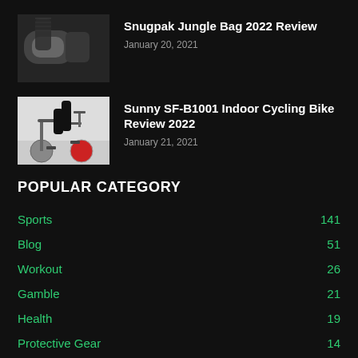[Figure (photo): Black sleeping bag / jungle bag product photo on dark background]
Snugpak Jungle Bag 2022 Review
January 20, 2021
[Figure (photo): Person riding indoor cycling exercise bike, side view, dark background]
Sunny SF-B1001 Indoor Cycling Bike Review 2022
January 21, 2021
POPULAR CATEGORY
Sports 141
Blog 51
Workout 26
Gamble 21
Health 19
Protective Gear 14